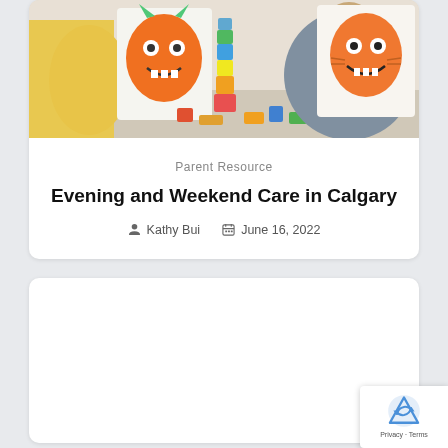[Figure (photo): Children and adults playing with colorful building blocks and holding up cartoon monster drawings in a classroom or play setting.]
Parent Resource
Evening and Weekend Care in Calgary
Kathy Bui   June 16, 2022
[Figure (other): Empty white card area below the article card.]
[Figure (other): reCAPTCHA badge with Privacy - Terms text.]